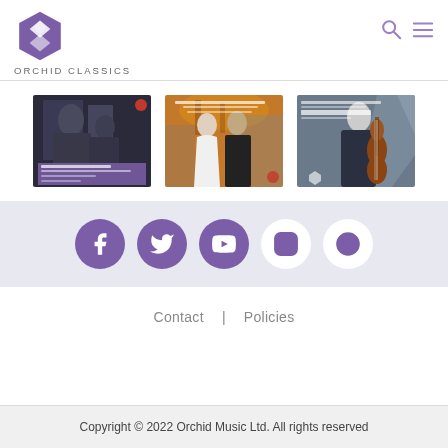[Figure (logo): Orchid Classics logo with purple hexagonal orchid icon and text ORCHID CLASSICS]
[Figure (screenshot): Three album covers shown side by side: first shows two men with text about violin/cello sonatas, second shows two men in formal wear outdoors with text about piano and chamber music, third shows a young man holding a cello with text about cello repertoire]
[Figure (infographic): Social media icons in circles: Facebook (filled purple), Twitter (filled purple), YouTube (filled purple), Instagram (outline purple), Spotify (outline purple)]
Contact | Policies
Copyright © 2022 Orchid Music Ltd. All rights reserved